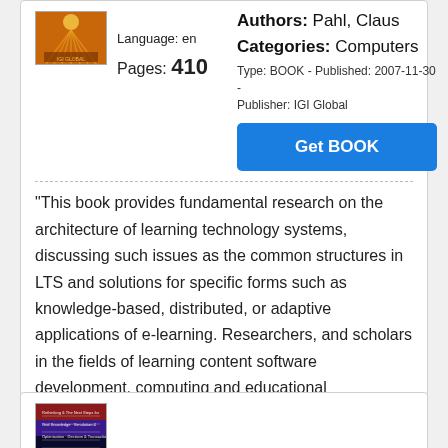[Figure (illustration): Book cover with orange/golden sun-ray pattern design]
Language: en
Pages: 410
Authors: Pahl, Claus
Categories: Computers
Type: BOOK - Published: 2007-11-30 - Publisher: IGI Global
Get BOOK
"This book provides fundamental research on the architecture of learning technology systems, discussing such issues as the common structures in LTS and solutions for specific forms such as knowledge-based, distributed, or adaptive applications of e-learning. Researchers, and scholars in the fields of learning content software development, computing and educational technologies,
[Figure (illustration): Book cover with dark purple/blue gradient and text lines]